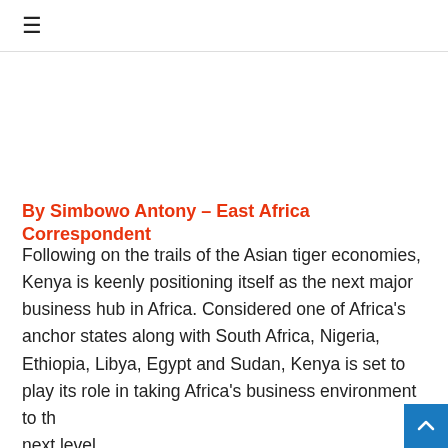≡
By Simbowo Antony – East Africa Correspondent
Following on the trails of the Asian tiger economies, Kenya is keenly positioning itself as the next major business hub in Africa. Considered one of Africa's anchor states along with South Africa, Nigeria, Ethiopia, Libya, Egypt and Sudan, Kenya is set to play its role in taking Africa's business environment to the next level.